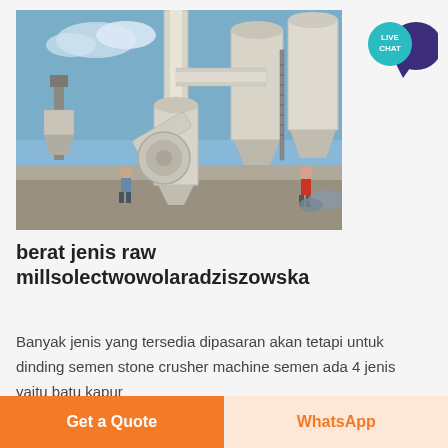[Figure (photo): Industrial raw mill machinery with cyclone separators and conveyor pipes at an outdoor site. Large white silos, pipes, and workers visible in background under blue sky.]
berat jenis raw millsolectwowolaradziszowska
Banyak jenis yang tersedia dipasaran akan tetapi untuk dinding semen stone crusher machine semen ada 4 jenis yaitu batu kapur
Get a Quote
WhatsApp